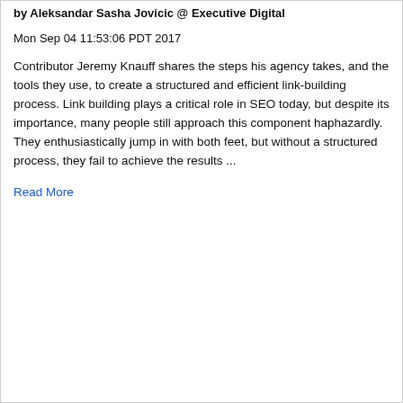by Aleksandar Sasha Jovicic @ Executive Digital
Mon Sep 04 11:53:06 PDT 2017
Contributor Jeremy Knauff shares the steps his agency takes, and the tools they use, to create a structured and efficient link-building process. Link building plays a critical role in SEO today, but despite its importance, many people still approach this component haphazardly. They enthusiastically jump in with both feet, but without a structured process, they fail to achieve the results ...
Read More